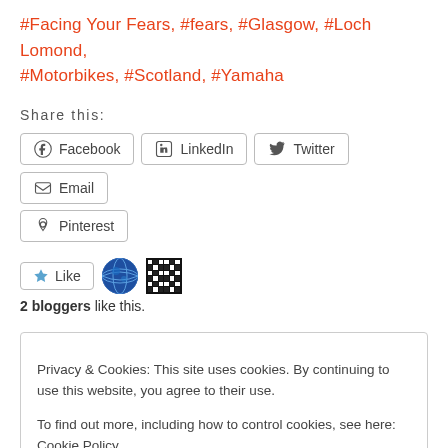#Facing Your Fears, #fears, #Glasgow, #Loch Lomond, #Motorbikes, #Scotland, #Yamaha
Share this:
Facebook LinkedIn Twitter Email Pinterest
[Figure (infographic): Like button with star icon, two blogger avatars (blue globe illustration and black pixel/grid avatar)]
2 bloggers like this.
Privacy & Cookies: This site uses cookies. By continuing to use this website, you agree to their use. To find out more, including how to control cookies, see here: Cookie Policy
Close and accept